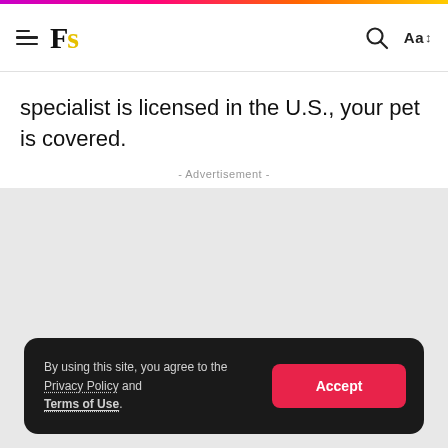Fs
specialist is licensed in the U.S., your pet is covered.
- Advertisement -
[Figure (other): Gray advertisement placeholder area]
By using this site, you agree to the Privacy Policy and Terms of Use.